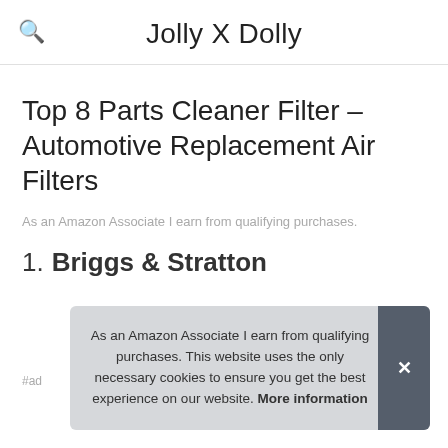Jolly X Dolly
Top 8 Parts Cleaner Filter – Automotive Replacement Air Filters
As an Amazon Associate I earn from qualifying purchases.
1. Briggs & Stratton
#ad
As an Amazon Associate I earn from qualifying purchases. This website uses the only necessary cookies to ensure you get the best experience on our website. More information